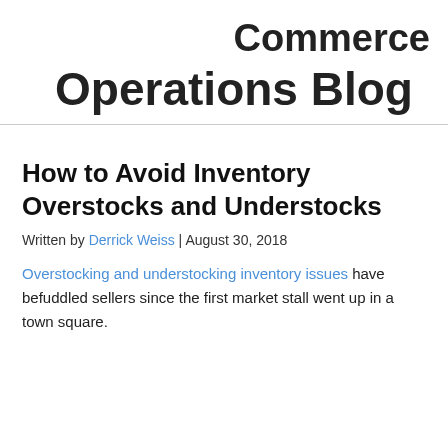Commerce
Operations Blog
How to Avoid Inventory Overstocks and Understocks
Written by Derrick Weiss | August 30, 2018
Overstocking and understocking inventory issues have befuddled sellers since the first market stall went up in a town square.